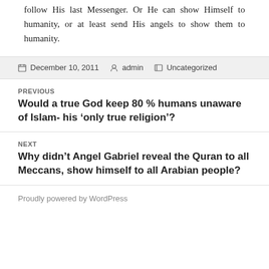follow His last Messenger. Or He can show Himself to humanity, or at least send His angels to show them to humanity.
December 10, 2011   admin   Uncategorized
PREVIOUS
Would a true God keep 80 % humans unaware of Islam- his ‘only true religion’?
NEXT
Why didn’t Angel Gabriel reveal the Quran to all Meccans, show himself to all Arabian people?
Proudly powered by WordPress